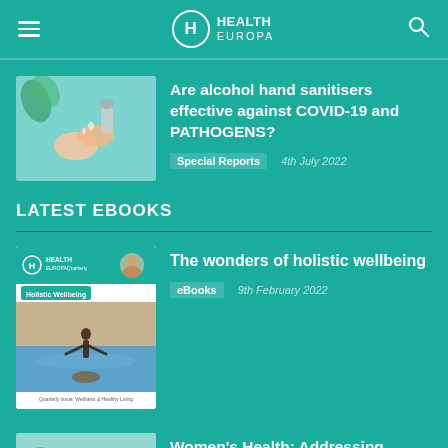Health Europa
Are alcohol hand sanitisers effective against COVID-19 and PATHOGENS?
Special Reports   4th July 2022
LATEST EBOOKS
The wonders of holistic wellbeing
eBooks   9th February 2022
Women's Health: Addressing gender